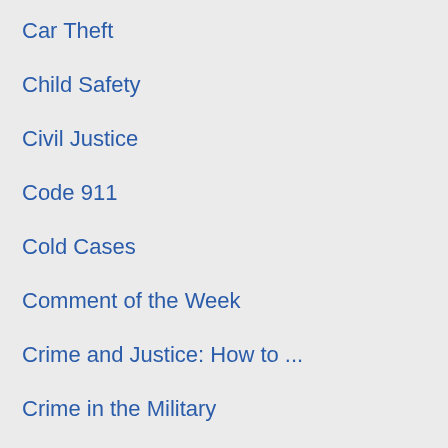Car Theft
Child Safety
Civil Justice
Code 911
Cold Cases
Comment of the Week
Crime and Justice: How to ...
Crime in the Military
Crime reporter's notebook
Crime Tech
Crimefighting (News you can use)
Domestic Violence
Driving Under the Influence
Drug Court
Drugs, Alcohol and Tobacco